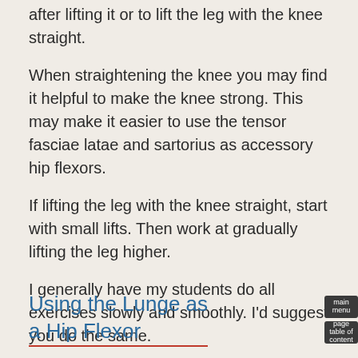after lifting it or to lift the leg with the knee straight.
When straightening the knee you may find it helpful to make the knee strong. This may make it easier to use the tensor fasciae latae and sartorius as accessory hip flexors.
If lifting the leg with the knee straight, start with small lifts. Then work at gradually lifting the leg higher.
I generally have my students do all exercises slowly and smoothly. I'd suggest you do the same.
Using the Lunge as a Hip Flexor